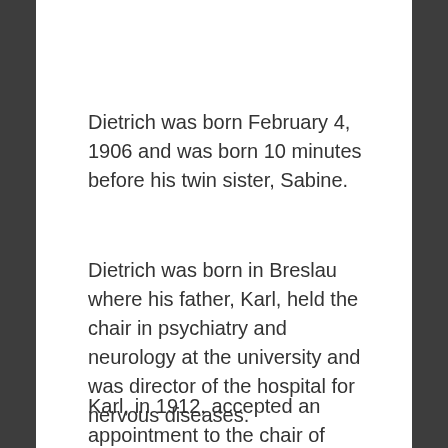Dietrich was born February 4, 1906 and was born 10 minutes before his twin sister, Sabine.
Dietrich was born in Breslau where his father, Karl, held the chair in psychiatry and neurology at the university and was director of the hospital for nervous diseases.
Karl, in 1912, accepted an appointment to the chair of psychiatry and neurology in Berlin and